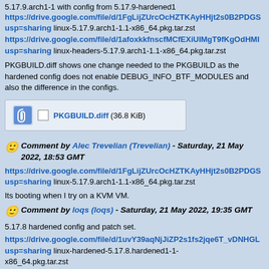5.17.9.arch1-1 with config from 5.17.9-hardened1
https://drive.google.com/file/d/1FgLijZUrcOcHZTKAyHHjt2s0B2PDGSusp=sharing linux-5.17.9.arch1-1.1-x86_64.pkg.tar.zst
https://drive.google.com/file/d/1afoxkkfnscfMCfEXiUIMgT9fKgOdHMusp=sharing linux-headers-5.17.9.arch1-1.1-x86_64.pkg.tar.zst
PKGBUILD.diff shows one change needed to the PKGBUILD as the hardened config does not enable DEBUG_INFO_BTF_MODULES and also the difference in the configs.
[Figure (other): Attachment: PKGBUILD.diff (36.8 KiB) with paperclip icon and checkbox]
Comment by Alec Trevelian (Trevelian) - Saturday, 21 May 2022, 18:53 GMT
https://drive.google.com/file/d/1FgLijZUrcOcHZTKAyHHjt2s0B2PDGSusp=sharing linux-5.17.9.arch1-1.1-x86_64.pkg.tar.zst
Its booting when I try on a KVM VM.
Comment by loqs (loqs) - Saturday, 21 May 2022, 19:35 GMT
5.17.8 hardened config and patch set.
https://drive.google.com/file/d/1uvY39aqNjJiZP2s1fs2jqe6T_vDNHGLusp=sharing linux-hardened-5.17.8.hardened1-1-x86_64.pkg.tar.zst
https://drive.google.com/file/d/1qalvqF3PbQYbBSlqZ2qAUAIYtcAv0zusp=sharing linux-hardened-headers-5.17.8.hardened1-1-x86_64.pkg.tar.zst